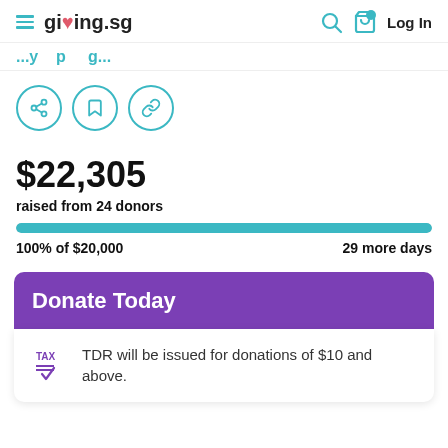giving.sg  Log In
(partial campaign title — truncated)
[Figure (other): Three circular icon buttons: share, bookmark, and link]
$22,305
raised from 24 donors
100% of $20,000   29 more days
Donate Today
TDR will be issued for donations of $10 and above.